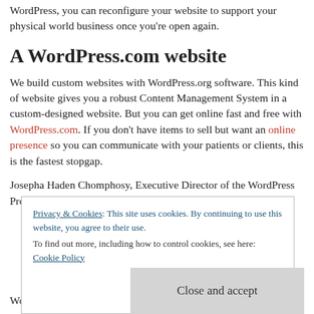WordPress, you can reconfigure your website to support your physical world business once you're open again.
A WordPress.com website
We build custom websites with WordPress.org software. This kind of website gives you a robust Content Management System in a custom-designed website. But you can get online fast and free with WordPress.com. If you don't have items to sell but want an online presence so you can communicate with your patients or clients, this is the fastest stopgap.
Josepha Haden Chomphosy, Executive Director of the WordPress Project at Automattic, tells us that
Privacy & Cookies: This site uses cookies. By continuing to use this website, you agree to their use. To find out more, including how to control cookies, see here: Cookie Policy
Close and accept
WordPress.com: